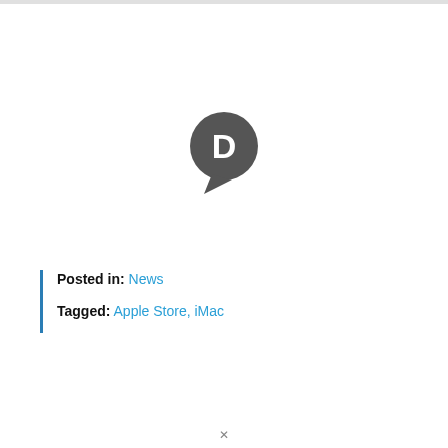[Figure (logo): Disqus speech bubble logo icon in dark gray with white letter D]
Posted in: News
Tagged: Apple Store, iMac